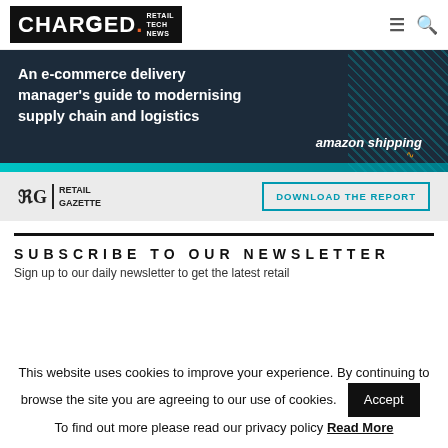CHARGED. RETAIL TECH NEWS
[Figure (infographic): Amazon Shipping advertisement banner: 'An e-commerce delivery manager's guide to modernising supply chain and logistics' with amazon shipping logo on dark navy background with teal diagonal lines]
[Figure (infographic): Retail Gazette advertisement bar with logo and 'DOWNLOAD THE REPORT' button]
SUBSCRIBE TO OUR NEWSLETTER
Sign up to our daily newsletter to get the latest retail
This website uses cookies to improve your experience. By continuing to browse the site you are agreeing to our use of cookies. Accept To find out more please read our privacy policy Read More